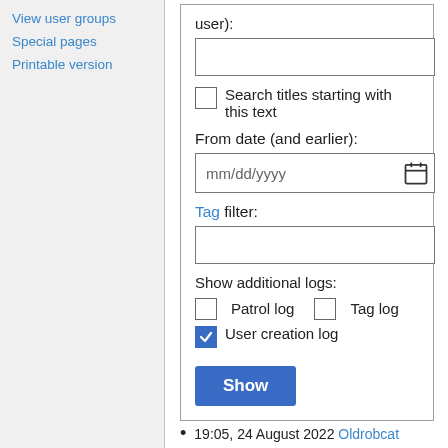View user groups
Special pages
Printable version
user):
Search titles starting with this text
From date (and earlier):
mm/dd/yyyy
Tag filter:
Show additional logs:
Patrol log
Tag log
User creation log
Show
19:05, 24 August 2022 Oldrobcat